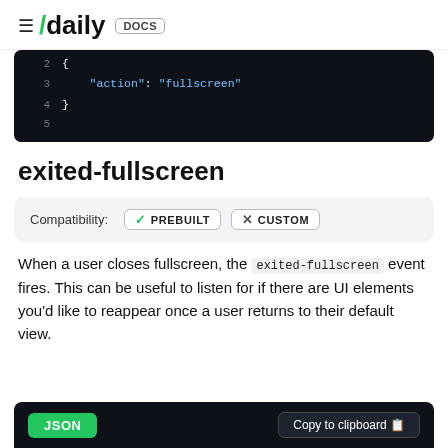≡ /daily DOCS
[Figure (screenshot): Code block showing JSON lines 2-5 with 'action': 'fullscreen' on a dark background]
exited-fullscreen
Compatibility: ✓ PREBUILT  × CUSTOM
When a user closes fullscreen, the exited-fullscreen event fires. This can be useful to listen for if there are UI elements you'd like to reappear once a user returns to their default view.
[Figure (screenshot): Bottom bar with JSON button and Copy to clipboard button on dark background]